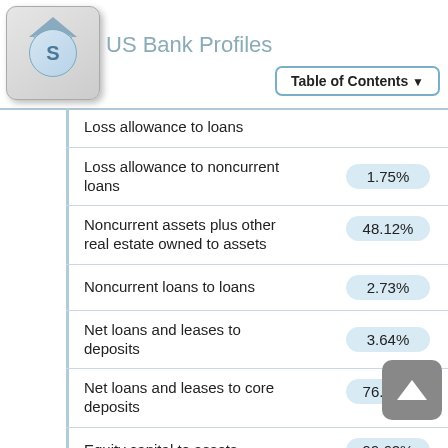US Bank Profiles
| Metric | Value |
| --- | --- |
| Loss allowance to loans |  |
| Loss allowance to noncurrent loans | 1.75% |
| Noncurrent assets plus other real estate owned to assets | 48.12% |
| Noncurrent loans to loans | 2.73% |
| Net loans and leases to deposits | 3.64% |
| Net loans and leases to core deposits | 76.55% |
| Equity capital to assets | 99.62% |
| Core capital (leverage) ratio | 9.54% |